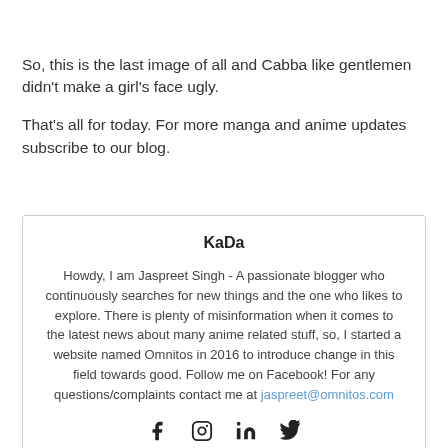So, this is the last image of all and Cabba like gentlemen didn't make a girl's face ugly.
That's all for today. For more manga and anime updates subscribe to our blog.
KaDa
Howdy, I am Jaspreet Singh - A passionate blogger who continuously searches for new things and the one who likes to explore. There is plenty of misinformation when it comes to the latest news about many anime related stuff, so, I started a website named Omnitos in 2016 to introduce change in this field towards good. Follow me on Facebook! For any questions/complaints contact me at jaspreet@omnitos.com
[Figure (other): Social media icons: Facebook, Instagram, LinkedIn, Twitter]